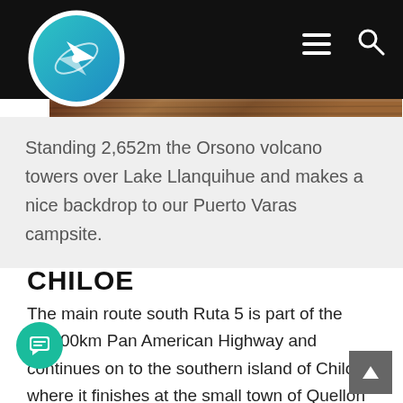[Figure (photo): Website navigation bar with logo (teal compass/navigation icon in white circle), hamburger menu icon and search icon on black background, with a wood-textured photo strip below]
Standing 2,652m the Orsono volcano towers over Lake Llanquihue and makes a nice backdrop to our Puerto Varas campsite.
CHILOE
The main route south Ruta 5 is part of the 30,000km Pan American Highway and continues on to the southern island of Chiloe where it finishes at the small town of Quellon at the bottom of the island. Chiloe is a world removed from the rest of Chile and is